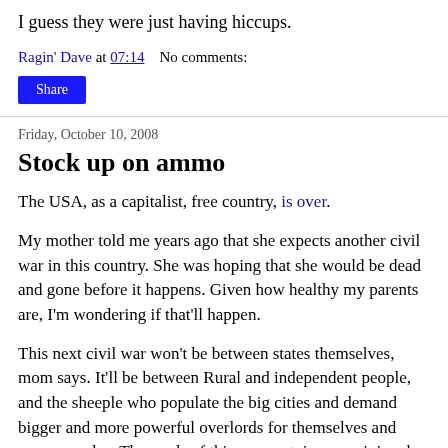I guess they were just having hiccups.
Ragin' Dave at 07:14    No comments:
Share
Friday, October 10, 2008
Stock up on ammo
The USA, as a capitalist, free country, is over.
My mother told me years ago that she expects another civil war in this country. She was hoping that she would be dead and gone before it happens. Given how healthy my parents are, I'm wondering if that'll happen.
This next civil war won't be between states themselves, mom says. It'll be between Rural and independent people, and the sheeple who populate the big cities and demand bigger and more powerful overlords for themselves and everyone else. The seeds of this were set, in my opinion, by